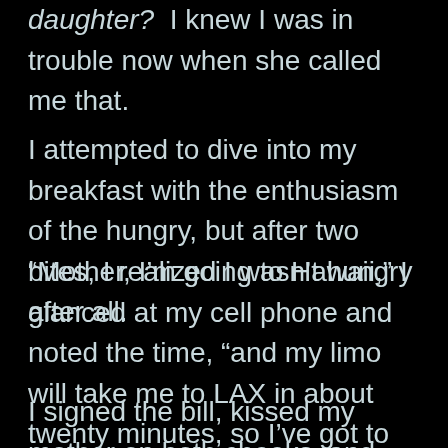daughter?  I knew I was in trouble now when she called me that.
I attempted to dive into my breakfast with the enthusiasm of the hungry, but after two bites, I realized I wasn't hungry after all.
“Mother, I’m going to Hawaii,” I glanced at my cell phone and noted the time, “and my limo will take me to LAX in about twenty minutes, so I’ve got to run.”
I signed the bill, kissed my mother on both cheeks, and walked away, waving off any